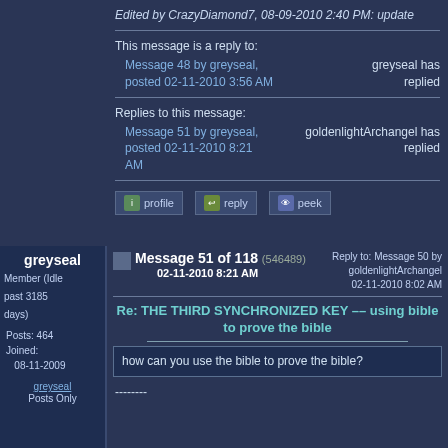Edited by CrazyDiamond7, 08-09-2010 2:40 PM: update
This message is a reply to:
Message 48 by greyseal, posted 02-11-2010 3:56 AM
greyseal has replied
Replies to this message:
Message 51 by greyseal, posted 02-11-2010 8:21 AM
goldenlightArchangel has replied
profile | reply | peek
greyseal
Member (Idle past 3185 days)
Posts: 464
Joined: 08-11-2009
greyseal
Posts Only
Message 51 of 118 (546489)
02-11-2010 8:21 AM
Reply to: Message 50 by goldenlightArchangel
02-11-2010 8:02 AM
Re: THE THIRD SYNCHRONIZED KEY -- using bible to prove the bible
how can you use the bible to prove the bible?
--------